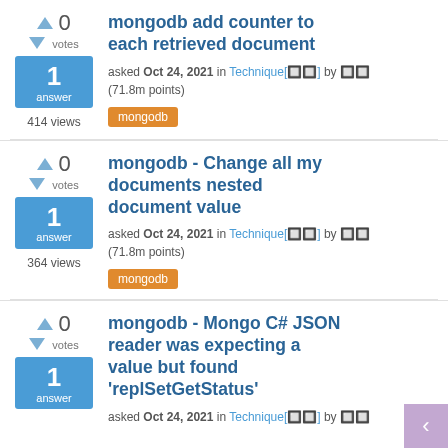mongodb add counter to each retrieved document
asked Oct 24, 2021 in Technique[⬛⬛] by ⬛⬛ (71.8m points)
mongodb
414 views
mongodb - Change all my documents nested document value
asked Oct 24, 2021 in Technique[⬛⬛] by ⬛⬛ (71.8m points)
mongodb
364 views
mongodb - Mongo C# JSON reader was expecting a value but found 'replSetGetStatus'
asked Oct 24, 2021 in Technique[⬛⬛] by ⬛⬛